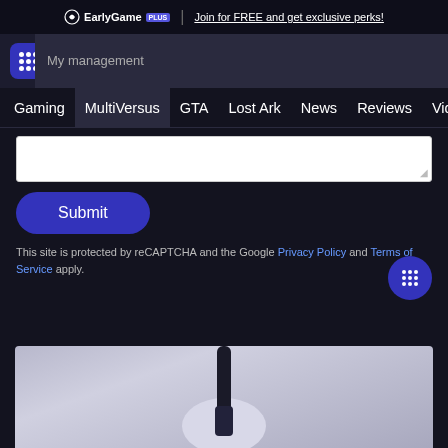EarlyGame PLUS | Join for FREE and get exclusive perks!
[Figure (screenshot): EarlyGame website navigation bar with logo, grid menu icon, and icons for contrast, search, and user profile]
[Figure (screenshot): Navigation dropdown showing categories: Gaming, MultiVersus, GTA, Lost Ark, News, Reviews, Videos]
[Figure (screenshot): White textarea input field with resize handle]
[Figure (screenshot): Submit button (rounded blue/purple pill shape)]
This site is protected by reCAPTCHA and the Google Privacy Policy and Terms of Service apply.
[Figure (screenshot): Floating circular grid/menu button in bottom right area]
[Figure (photo): Partial image of a PS5 console showing white body and dark spine at bottom of page]